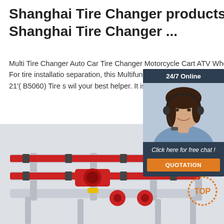Shanghai Tire Changer products, Shanghai Tire Changer ...
Multi Tire Changer Auto Car Tire Changer Motorcycle Cart ATV Wheel [Dec 30, 2019] For tire installation separation, this Multifunctional Manual Tire C to 16-1/2'( B5059) 4' to 21'( B5060) Tire s wil your best helper. It is ...
[Figure (photo): Customer service representative woman wearing headset, chat widget with '24/7 Online' header, 'Click here for free chat!' text, and orange QUOTATION button]
[Figure (photo): Close-up of a red and grey tire changer machine with clamps and rails]
[Figure (other): Orange dotted circle TOP badge in the bottom right corner]